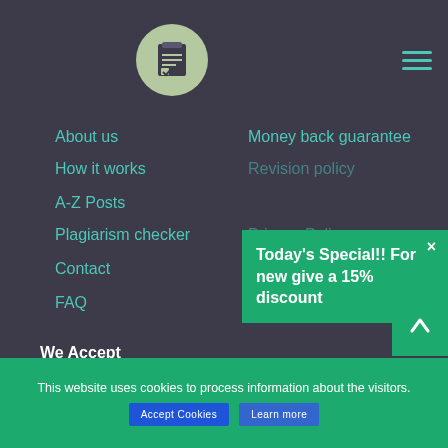[Figure (screenshot): Website navigation page showing a dark background with logo, navigation links, a green promotional popup, payment icons, and a cookie consent bar]
Logo and hamburger menu
About us
How it works
A-Z Posts
Plagiarism checker
Contact
FAQ
Money back guarantee
Revision policy
Privacy Policy
Terms and Conditions
Today's Special!! For new give a 15% discount
We Accept
[Figure (logo): Discover, Visa, Mastercard, PayPal payment logos]
This website uses cookies to process information about the visitors.